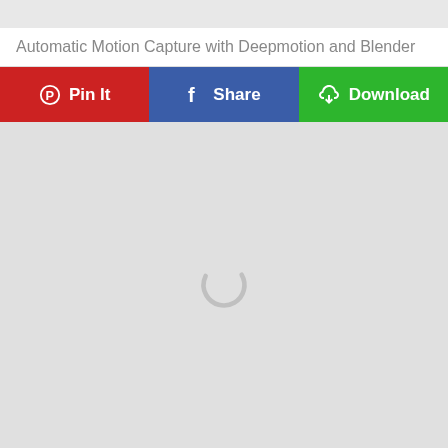Automatic Motion Capture with Deepmotion and Blender
[Figure (screenshot): Three social sharing buttons in a row: 'Pin It' button with Pinterest logo on red background, 'Share' button with Facebook logo on blue background, 'Download' button with cloud-download icon on green background]
[Figure (screenshot): Large light gray content area with a loading spinner (circular arc) centered in the middle]